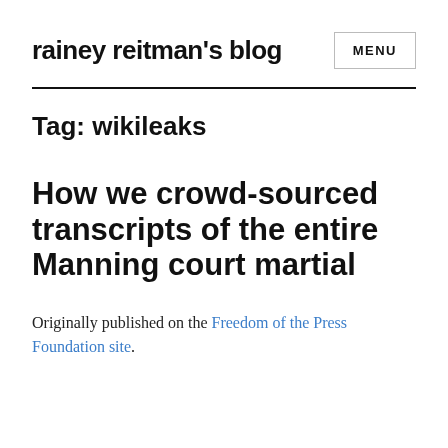rainey reitman's blog
Tag: wikileaks
How we crowd-sourced transcripts of the entire Manning court martial
Originally published on the Freedom of the Press Foundation site.